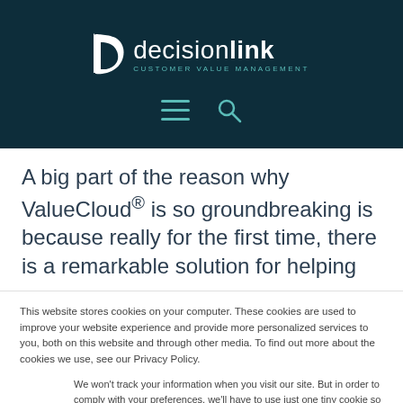[Figure (logo): DecisionLink Customer Value Management logo — white D icon with 'decision' in regular weight and 'link' in bold white, with 'CUSTOMER VALUE MANAGEMENT' tagline in teal below, on dark navy background. Below the logo are hamburger menu and search icons in teal.]
A big part of the reason why ValueCloud® is so groundbreaking is because really for the first time, there is a remarkable solution for helping
This website stores cookies on your computer. These cookies are used to improve your website experience and provide more personalized services to you, both on this website and through other media. To find out more about the cookies we use, see our Privacy Policy.
We won't track your information when you visit our site. But in order to comply with your preferences, we'll have to use just one tiny cookie so that you're not asked to make this choice again.
Accept | Decline